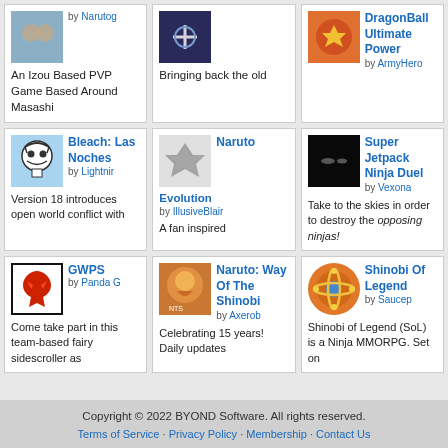An Izou Based PVP Game Based Around Masashi
Bringing back the old
DragonBall Ultimate Power by ArmyHero
[Figure (screenshot): Bleach: Las Noches card with skull icon, by Lightnir]
Version 18 introduces open world conflict with
[Figure (screenshot): Naruto Evolution card with shuriken icon, by IllusiveBlair]
A fan inspired
[Figure (screenshot): Super Jetpack Ninja Duel card with dark thumbnail, by Vexona]
Take to the skies in order to destroy the opposing ninjas!
[Figure (screenshot): GWPS card with Fairy Tail logo, by Panda]
Come take part in this team-based fairy sidescroller as
[Figure (screenshot): Naruto: Way Of The Shinobi card with Naruto image, by Axerob]
Celebrating 15 years! Daily updates
[Figure (screenshot): Shinobi Of Legend card with atom icon, by Saucep]
Shinobi of Legend (SoL) is a Ninja MMORPG. Set on
Copyright © 2022 BYOND Software. All rights reserved. Terms of Service · Privacy Policy · Membership · Contact Us